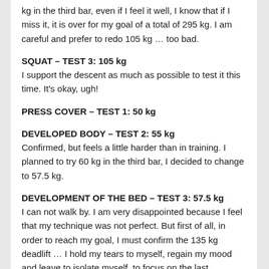kg in the third bar, even if I feel it well, I know that if I miss it, it is over for my goal of a total of 295 kg. I am careful and prefer to redo 105 kg … too bad.
SQUAT – TEST 3: 105 kg
I support the descent as much as possible to test it this time. It's okay, ugh!
PRESS COVER – TEST 1: 50 kg
DEVELOPED BODY – TEST 2: 55 kg
Confirmed, but feels a little harder than in training. I planned to try 60 kg in the third bar, I decided to change to 57.5 kg.
DEVELOPMENT OF THE BED – TEST 3: 57.5 kg
I can not walk by. I am very disappointed because I feel that my technique was not perfect. But first of all, in order to reach my goal, I must confirm the 135 kg deadlift … I hold my tears to myself, regain my mood and leave to isolate myself, to focus on the last